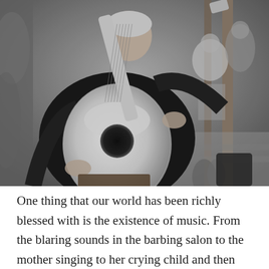[Figure (photo): Black and white photograph of an older man playing a classical acoustic guitar outdoors. He wears a dark sweater and is seated, focused on playing. In the background, other people are visible sitting on stone steps, and wooden posts frame the scene. Plants are visible at the lower edges of the image.]
One thing that our world has been richly blessed with is the existence of music. From the blaring sounds in the barbing salon to the mother singing to her crying child and then the great sounds from a traditional festival, all music has offered is relativity to its listeners. Rumored to be as old as language itself, music has proven to stand the test of time as